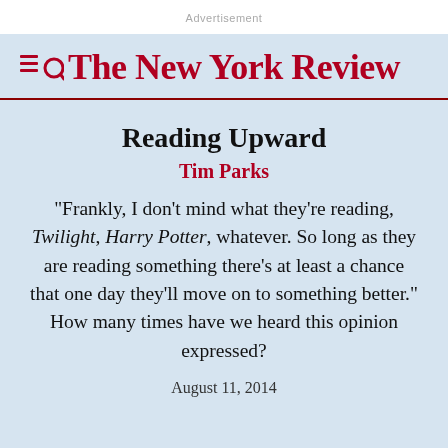Advertisement
The New York Review
Reading Upward
Tim Parks
“Frankly, I don’t mind what they’re reading, Twilight, Harry Potter, whatever. So long as they are reading something there’s at least a chance that one day they’ll move on to something better.” How many times have we heard this opinion expressed?
August 11, 2014